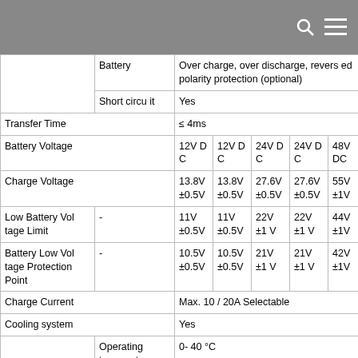|  | Battery | Over charge, over discharge, reversed polarity protection (optional) |
|  | Short circuit | Yes |  |  |  |  |
| Transfer Time |  | ≤ 4ms |  |  |  |  |
| Battery Voltage |  | 12V DC | 12V DC | 24V DC | 24V DC | 48V DC |
| Charge Voltage |  | 13.8V ±0.5V | 13.8V ±0.5V | 27.6V ±0.5V | 27.6V ±0.5V | 55V ±1V |
| Low Battery Voltage Limit | - | 11V ±0.5V | 11V ±0.5V | 22V ±1V | 22V ±1V | 44V ±1V |
| Battery Low Voltage Protection Point | - | 10.5V ±0.5V | 10.5V ±0.5V | 21V ±1V | 21V ±1V | 42V ±1V |
| Charge Current |  | Max. 10 / 20A Selectable |  |  |  |  |
| Cooling system |  | Yes |  |  |  |  |
|  | Operating temperature | 0- 40 °C |  |  |  |  |